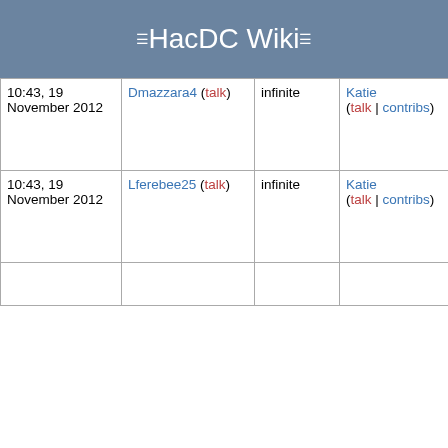HacDC Wiki
| Date | User | Expires | Blocking admin | Reason |
| --- | --- | --- | --- | --- |
| 10:43, 19 November 2012 | Dmazzara4 (talk) | infinite | Katie (talk | contribs) | (sitewide)
• account creation disabled
• cannot edit own talk page |
| 10:43, 19 November 2012 | Lferebee25 (talk) | infinite | Katie (talk | contribs) | editing (sitewide)
• account creation disabled
• cannot edit own talk page |
|  |  |  |  | editing |